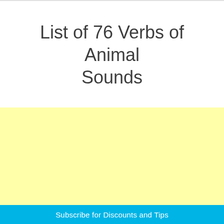List of 76 Verbs of Animal Sounds
[Figure (other): Light yellow rectangular block filling the middle section of the page]
Subscribe for Discounts and Tips